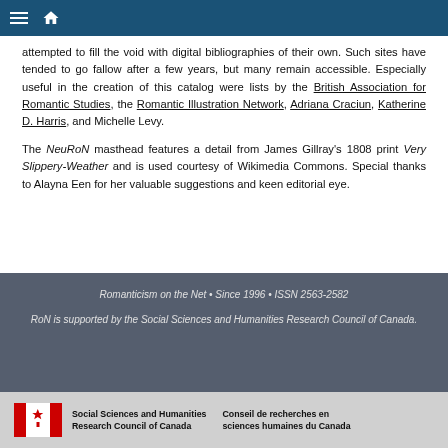Navigation header bar
attempted to fill the void with digital bibliographies of their own. Such sites have tended to go fallow after a few years, but many remain accessible. Especially useful in the creation of this catalog were lists by the British Association for Romantic Studies, the Romantic Illustration Network, Adriana Craciun, Katherine D. Harris, and Michelle Levy.
The NeuRoN masthead features a detail from James Gillray's 1808 print Very Slippery-Weather and is used courtesy of Wikimedia Commons. Special thanks to Alayna Een for her valuable suggestions and keen editorial eye.
Romanticism on the Net • Since 1996 • ISSN 2563-2582
RoN is supported by the Social Sciences and Humanities Research Council of Canada.
[Figure (logo): Social Sciences and Humanities Research Council of Canada / Conseil de recherches en sciences humaines du Canada logo with Canadian flag maple leaf icon]